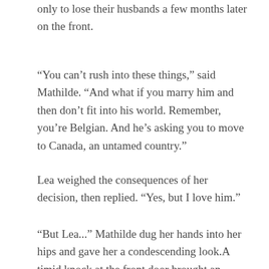only to lose their husbands a few months later on the front.
“You can’t rush into these things,” said Mathilde. “And what if you marry him and then don’t fit into his world. Remember, you’re Belgian. And he’s asking you to move to Canada, an untamed country.”
Lea weighed the consequences of her decision, then replied. “Yes, but I love him.”
“But Lea...” Mathilde dug her hands into her hips and gave her a condescending look.A timid knock at the front door brought an abrupt end to the conversation.
“It can’t be him already!” whispered Lea. She pinched her cheeks and bit her lips.